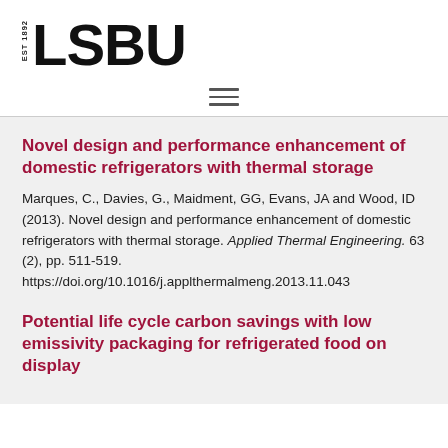EST 1892 LSBU
Novel design and performance enhancement of domestic refrigerators with thermal storage
Marques, C., Davies, G., Maidment, GG, Evans, JA and Wood, ID (2013). Novel design and performance enhancement of domestic refrigerators with thermal storage. Applied Thermal Engineering. 63 (2), pp. 511-519. https://doi.org/10.1016/j.applthermalmeng.2013.11.043
Potential life cycle carbon savings with low emissivity packaging for refrigerated food on display